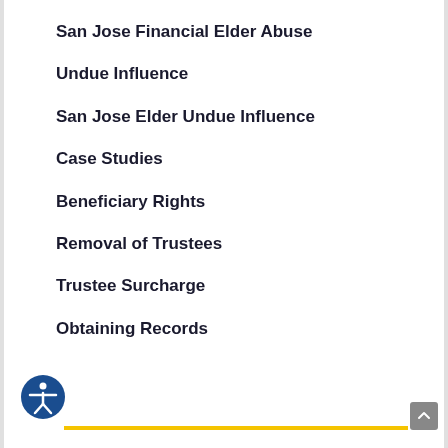San Jose Financial Elder Abuse
Undue Influence
San Jose Elder Undue Influence
Case Studies
Beneficiary Rights
Removal of Trustees
Trustee Surcharge
Obtaining Records